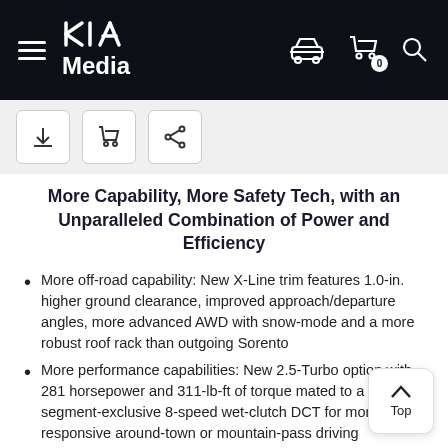KIA Media
More Capability, More Safety Tech, with an Unparalleled Combination of Power and Efficiency
More off-road capability: New X-Line trim features 1.0-in. higher ground clearance, improved approach/departure angles, more advanced AWD with snow-mode and a more robust roof rack than outgoing Sorento
More performance capabilities: New 2.5-Turbo option with 281 horsepower and 311-lb-ft of torque mated to a segment-exclusive 8-speed wet-clutch DCT for more responsive around-town or mountain-pass driving
New Turbo-Hybrid powertrain: Features 42 additional